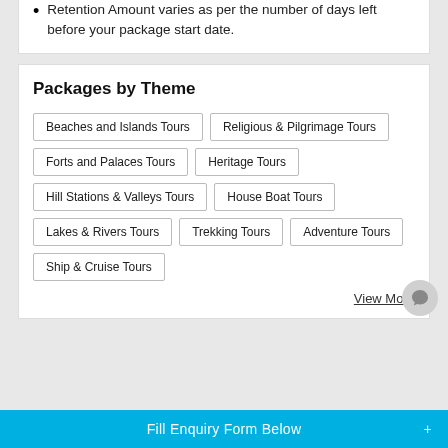Retention Amount varies as per the number of days left before your package start date.
Packages by Theme
Beaches and Islands Tours
Religious & Pilgrimage Tours
Forts and Palaces Tours
Heritage Tours
Hill Stations & Valleys Tours
House Boat Tours
Lakes & Rivers Tours
Trekking Tours
Adventure Tours
Ship & Cruise Tours
View More
Fill Enquiry Form Below